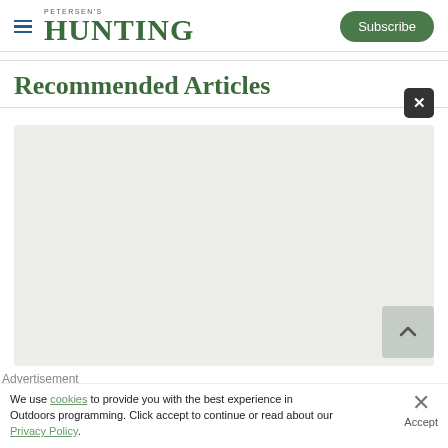PETERSEN'S HUNTING | Subscribe
Recommended Articles
[Figure (illustration): Light gray placeholder image area for a recommended article thumbnail]
We use cookies to provide you with the best experience in Outdoors programming. Click accept to continue or read about our Privacy Policy.